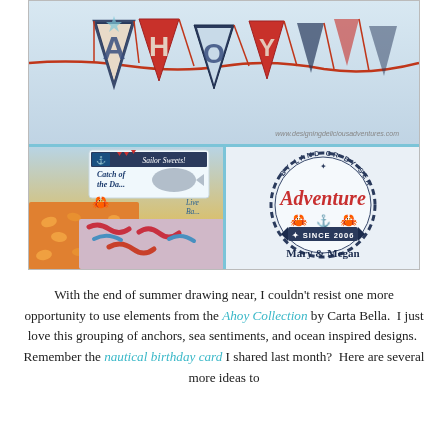[Figure (photo): Nautical/sailor themed party supplies collage. Top: close-up of AHOY pennant banner flags in navy and red on a string. Bottom-left: food label cards with sailor/fish theme (Sailor Sweets, Catch of the Day, Live Bait) over bowls of goldfish crackers and gummy worms. Bottom-right: circular nautical logo with 'Adventure BY LAND OR BY SEA' rope border, anchor, red cartoon lobsters, banner reading 'SINCE 2006', and 'Mary & Megan' in navy bold script.]
With the end of summer drawing near, I couldn't resist one more opportunity to use elements from the Ahoy Collection by Carta Bella. I just love this grouping of anchors, sea sentiments, and ocean inspired designs. Remember the nautical birthday card I shared last month? Here are several more ideas to